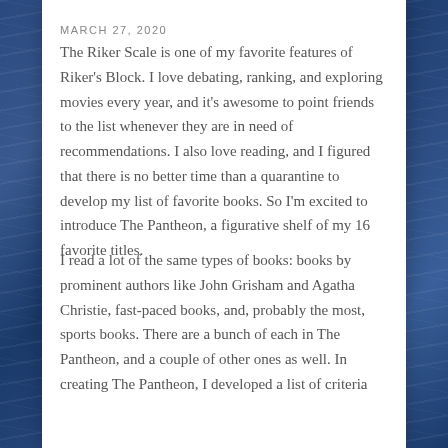MARCH 27, 2020
The Riker Scale is one of my favorite features of Riker's Block. I love debating, ranking, and exploring movies every year, and it's awesome to point friends to the list whenever they are in need of recommendations. I also love reading, and I figured that there is no better time than a quarantine to develop my list of favorite books. So I'm excited to introduce The Pantheon, a figurative shelf of my 16 favorite titles.
I read a lot of the same types of books: books by prominent authors like John Grisham and Agatha Christie, fast-paced books, and, probably the most, sports books. There are a bunch of each in The Pantheon, and a couple of other ones as well. In creating The Pantheon, I developed a list of criteria